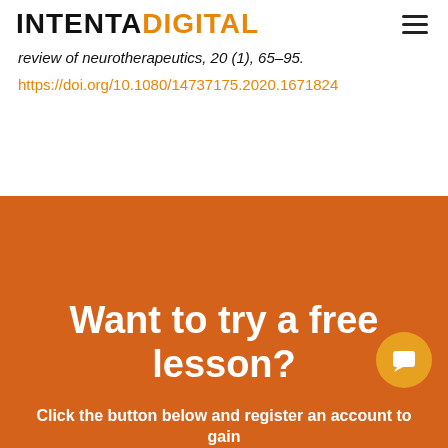INTENTA DIGITAL
review of neurotherapeutics, 20 (1), 65–95.
https://doi.org/10.1080/14737175.2020.1671824
Want to try a free lesson?
Click the button below and register an account to gain